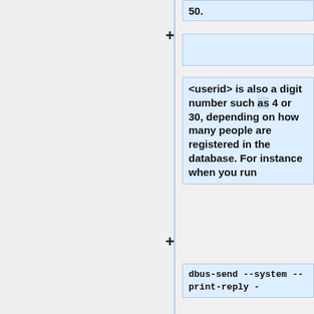50.
+
<userid> is also a digit number such as 4 or 30, depending on how many people are registered in the database. For instance when you run
+
dbus-send --system --print-reply -